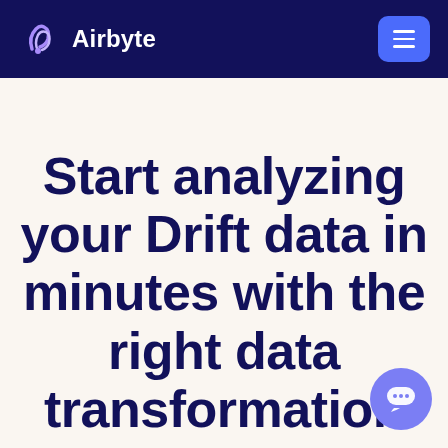Airbyte
Start analyzing your Drift data in minutes with the right data transformation